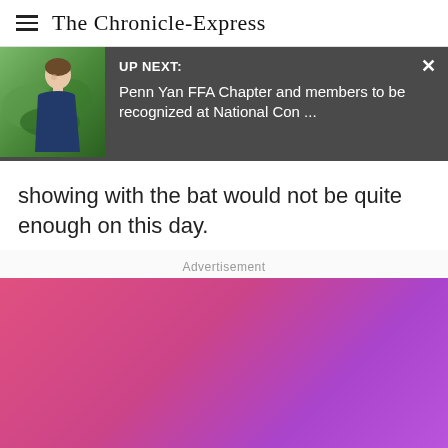The Chronicle-Express
[Figure (screenshot): UP NEXT notification bar with a thumbnail photo of a young man outdoors, showing the headline: Penn Yan FFA Chapter and members to be recognized at National Con ...]
showing with the bat would not be quite enough on this day.
Advertisement
[Figure (illustration): Advertisement banner with pink-to-purple gradient background]